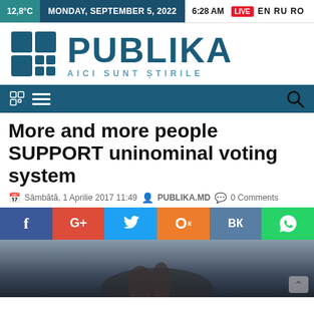12,8°C  MONDAY, SEPTEMBER 5, 2022  6:28 AM  LIVE  EN RU RO
[Figure (logo): Publika logo with teal grid icon and text PUBLIKA AICI SUNT ȘTIRILE]
[Figure (screenshot): Dark teal navigation bar with grid icon, hamburger menu icon, and search icon]
More and more people SUPPORT uninominal voting system
Sâmbătă, 1 Aprilie 2017 11:49  PUBLIKA.MD  0 Comments
[Figure (infographic): Social sharing bar with buttons: Facebook (f), Google+ (G+), Twitter bird, Odnoklassniki (O), VKontakte (VK), WhatsApp]
[Figure (photo): Partial photo of a person in dark clothing, hands visible, likely casting a vote]